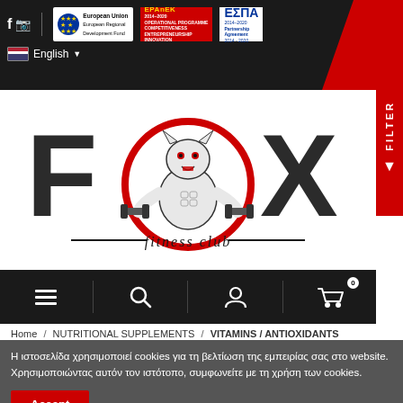Facebook Instagram | European Union European Regional Development Fund | EPAnEK 2014-2020 OPERATIONAL PROGRAMME COMPETITIVENESS ENTREPRENEURSHIP INNOVATION | ESPA 2014-2020 Partnership Agreement 2014-2020
English
[Figure (logo): FOX fitness club logo with muscular wolf mascot holding dumbbells inside a red circle, stylized bold letters F and X on either side]
Home / NUTRITIONAL SUPPLEMENTS / VITAMINS / ANTIOXIDANTS
Η ιστοσελίδα χρησιμοποιεί cookies για τη βελτίωση της εμπειρίας σας στο website. Χρησιμοποιώντας αυτόν τον ιστότοπο, συμφωνείτε με τη χρήση των cookies.
Accept
Metals represent a large group of micronutrients, most of which are